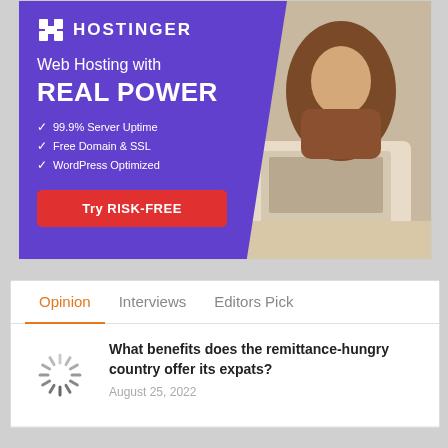[Figure (advertisement): Hostinger web hosting advertisement banner with purple background, woman working on laptop photo, logo, headline 'Web Hosting with REAL POWER', bullet points, and red CTA button]
Opinion
Interviews
Editors Pick
What benefits does the remittance-hungry country offer its expats?
August 25, 2022